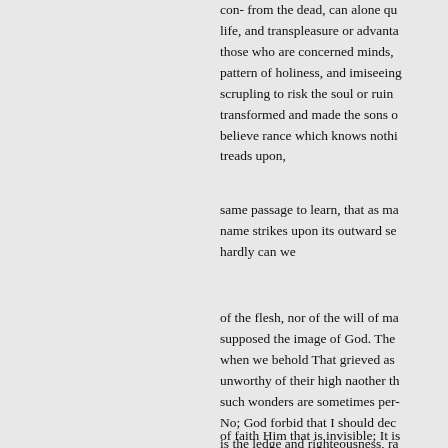con- from the dead, can alone qu life, and transpleasure or advanta those who are concerned minds, pattern of holiness, and imiseeing scrupling to risk the soul or ruin transformed and made the sons o believe rance which knows nothi treads upon,
same passage to learn, that as ma name strikes upon its outward se hardly can we
of the flesh, nor of the will of ma supposed the image of God. The when we behold That grieved as unworthy of their high naother th such wonders are sometimes per- No; God forbid that I should dec is the ledge and righteousness, ra learnt to see with by means, and
of faith Him that is invisible; It is be attained, and we must power c eternal in the heavens, aspiring d Holy Ghost; we cannot always s